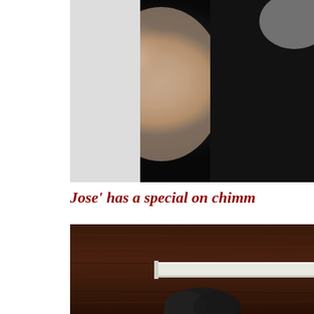[Figure (photo): Person wearing a black dress, upper body visible against a white background, arm prominently shown]
Jose' has a special on chimm
[Figure (photo): Person with dark hair partially visible, seated in front of a dark wood-paneled background with a horizontal white bar/ledge]